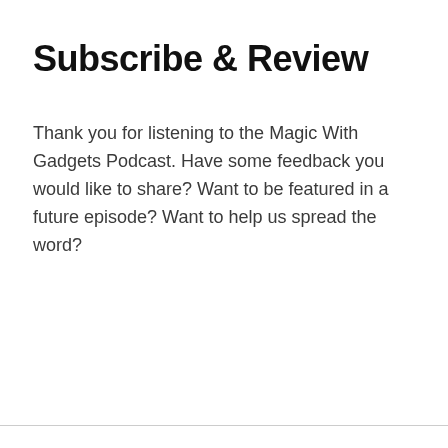Subscribe & Review
Thank you for listening to the Magic With Gadgets Podcast. Have some feedback you would like to share? Want to be featured in a future episode? Want to help us spread the word?